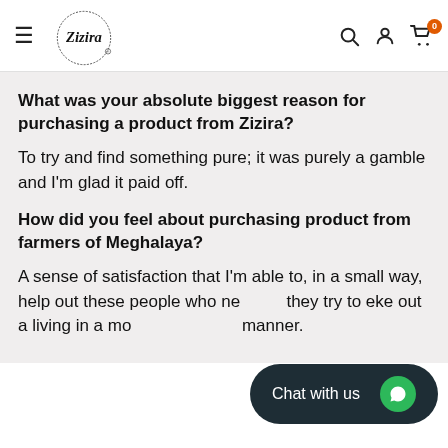Zizira (logo, navigation, search, account, cart)
What was your absolute biggest reason for purchasing a product from Zizira?
To try and find something pure; it was purely a gamble and I'm glad it paid off.
How did you feel about purchasing product from farmers of Meghalaya?
A sense of satisfaction that I'm able to, in a small way, help out these people who ne… they try to eke out a living in a mo… manner.